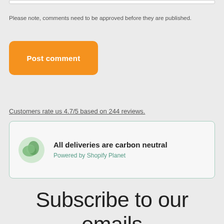Please note, comments need to be approved before they are published.
Post comment
Customers rate us 4.7/5 based on 244 reviews.
[Figure (illustration): Green leaf/globe icon representing carbon neutral deliveries]
All deliveries are carbon neutral
Powered by Shopify Planet
Subscribe to our emails